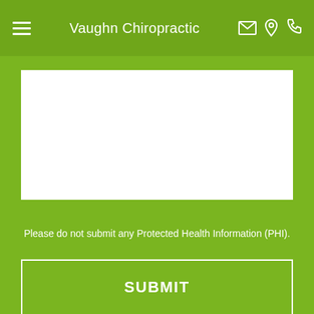Vaughn Chiropractic
[Figure (screenshot): White text area input box on green background]
Please do not submit any Protected Health Information (PHI).
SUBMIT
[Figure (other): Back to top arrow button, dark olive square with upward chevron]
[Figure (other): Accessibility icon (blue circle with wheelchair user) and tree/plant illustration at bottom of page]